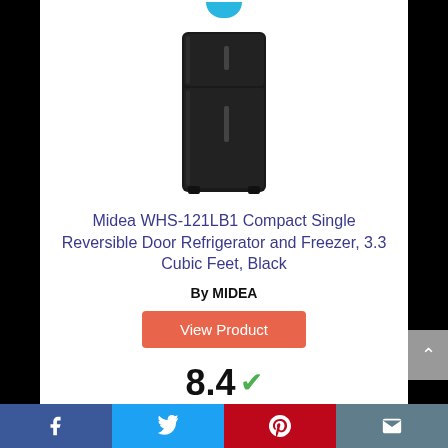[Figure (photo): Black compact mini refrigerator - Midea WHS-121LB1]
Midea WHS-121LB1 Compact Single Reversible Door Refrigerator and Freezer, 3.3 Cubic Feet, Black
By MIDEA
View Product
8.4 ✓
Score
Facebook | Twitter | Pinterest | Mail